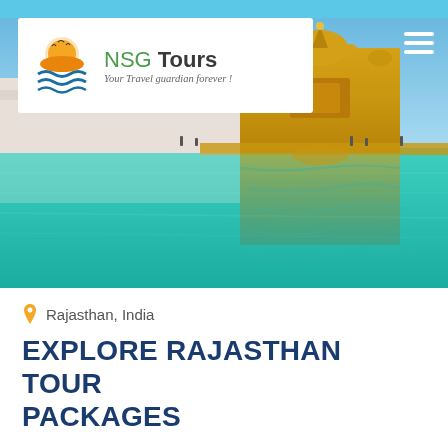[Figure (photo): NSG Tours logo with sun, birds and waves motif, text reading 'NSG Tours - Your Travel guardian forever!']
[Figure (photo): Photo of the Golden Temple in Amritsar, India, reflected in the sacred pool (Amrit Sarovar), with turquoise water in the foreground]
Rajasthan, India
EXPLORE RAJASTHAN TOUR PACKAGES